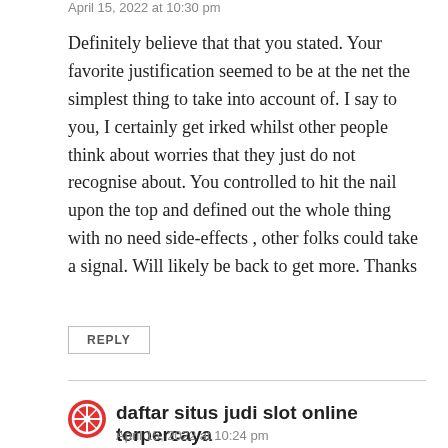April 15, 2022 at 10:30 pm
Definitely believe that that you stated. Your favorite justification seemed to be at the net the simplest thing to take into account of. I say to you, I certainly get irked whilst other people think about worries that they just do not recognise about. You controlled to hit the nail upon the top and defined out the whole thing with no need side-effects , other folks could take a signal. Will likely be back to get more. Thanks
REPLY
daftar situs judi slot online terpercaya
April 15, 2022 at 10:24 pm